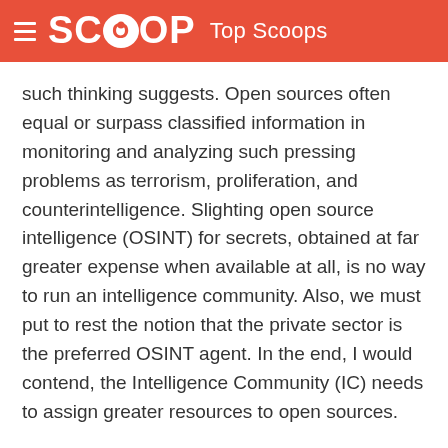SCOOP Top Scoops
such thinking suggests. Open sources often equal or surpass classified information in monitoring and analyzing such pressing problems as terrorism, proliferation, and counterintelligence. Slighting open source intelligence (OSINT) for secrets, obtained at far greater expense when available at all, is no way to run an intelligence community. Also, we must put to rest the notion that the private sector is the preferred OSINT agent. In the end, I would contend, the Intelligence Community (IC) needs to assign greater resources to open sources.
Mistaking Secrecy for Intelligence